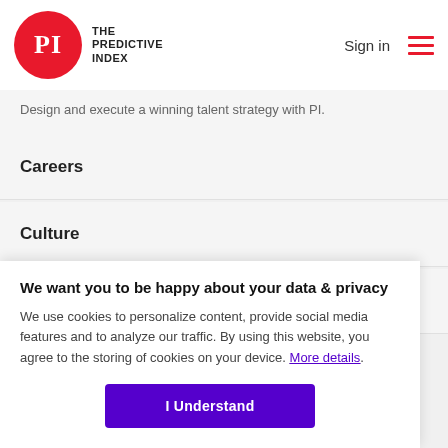The Predictive Index | Sign in
Design and execute a winning talent strategy with PI.
Careers
Culture
Change@Work
We want you to be happy about your data & privacy
We use cookies to personalize content, provide social media features and to analyze our traffic. By using this website, you agree to the storing of cookies on your device. More details.
I Understand